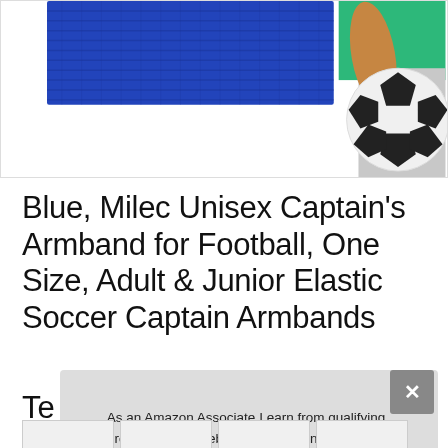[Figure (photo): Product photo showing a blue captain's armband on the left and a person in a green shirt holding a soccer ball on the right, white background]
Blue, Milec Unisex Captain’s Armband for Football, One Size, Adult & Junior Elastic Soccer Captain Armbands Te...
As an Amazon Associate I earn from qualifying purchases. This website uses the only necessary cookies to ensure you get the best experience on our website. More information